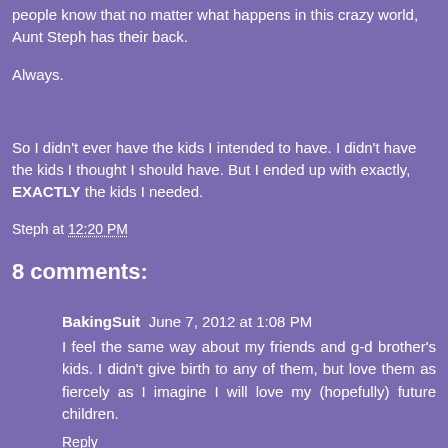people know that no matter what happens in this crazy world, Aunt Steph has their back.
Always.
So I didn't ever have the kids I intended to have. I didn't have the kids I thought I should have. But I ended up with exactly, EXACTLY the kids I needed.
Steph at 12:20 PM
8 comments:
BakingSuit   June 7, 2012 at 1:08 PM
I feel the same way about my friends and g-d brother's kids. I didn't give birth to any of them, but love them as fiercely as I imagine I will love my (hopefully) future children.
Reply